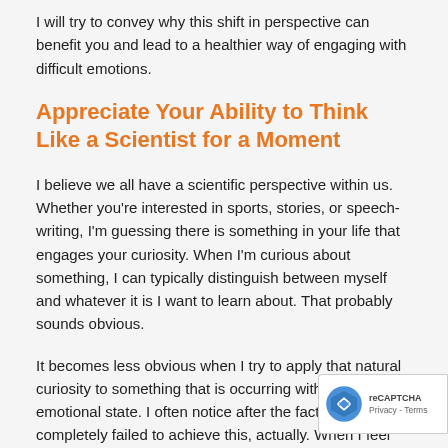I will try to convey why this shift in perspective can benefit you and lead to a healthier way of engaging with difficult emotions.
Appreciate Your Ability to Think Like a Scientist for a Moment
I believe we all have a scientific perspective within us. Whether you're interested in sports, stories, or speech-writing, I'm guessing there is something in your life that engages your curiosity. When I'm curious about something, I can typically distinguish between myself and whatever it is I want to learn about. That probably sounds obvious.
It becomes less obvious when I try to apply that natural curiosity to something that is occurring within my emotional state. I often notice after the fact that I completely failed to achieve this, actually. When I feel